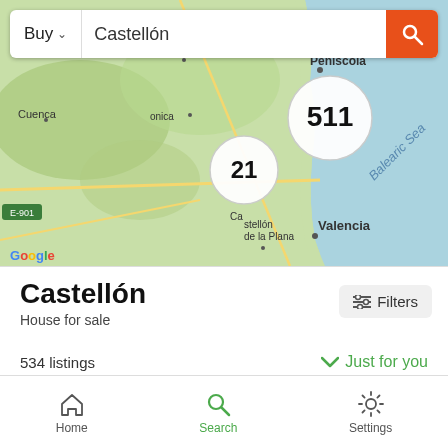[Figure (screenshot): Map showing the Castellón region of Spain with Google Maps, displaying clusters: 511 listings near Peniscola, 21 listings near Castellón de la Plana, with Valencia visible. Balearic Sea labeled on right. Green terrain, blue sea.]
Castellón
House for sale
534 listings
Just for you
AmbitClass
Home  Search  Settings